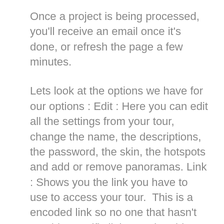Once a project is being processed, you'll receive an email once it's done, or refresh the page a few minutes.
Lets look at the options we have for our options : Edit : Here you can edit all the settings from your tour, change the name, the descriptions, the password, the skin, the hotspots and add or remove panoramas. Link : Shows you the link you have to use to access your tour.  This is a encoded link so no one that hasn't got this specific link wont be able to access your tour. To top off that, we pass the secure link through the google link shortener so it's easy to share.